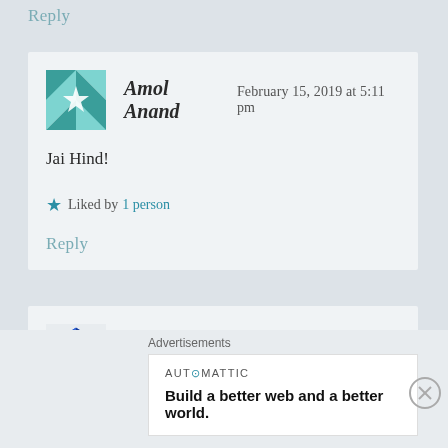Reply
Amol Anand   February 15, 2019 at 5:11 pm
Jai Hind!
★ Liked by 1 person
Reply
Sachin   February 15, 2019 at 7:00 pm
Thoughts very well composed, God bless our martyred
Advertisements
AUTOMATTIC
Build a better web and a better world.